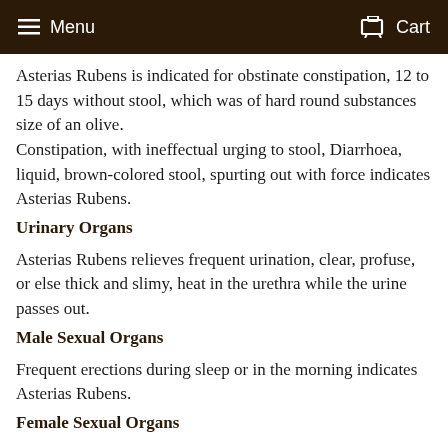Menu  Cart
Asterias Rubens is indicated for obstinate constipation, 12 to 15 days without stool, which was of hard round substances size of an olive.
Constipation, with ineffectual urging to stool, Diarrhoea, liquid, brown-colored stool, spurting out with force indicates Asterias Rubens.
Urinary Organs
Asterias Rubens relieves frequent urination, clear, profuse, or else thick and slimy, heat in the urethra while the urine passes out.
Male Sexual Organs
Frequent erections during sleep or in the morning indicates Asterias Rubens.
Female Sexual Organs
Pushing sensation in the womb, Delayed menses.
Delay of the menses, although the usual colic and other symptoms are present, these only cease on the appearance of